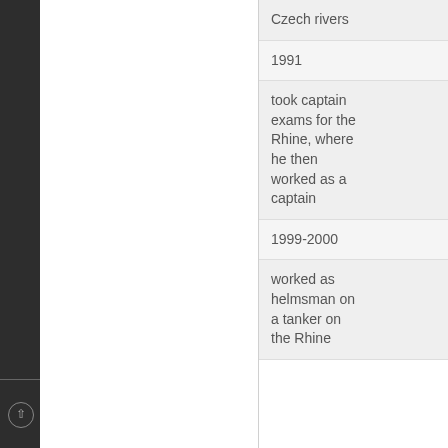|  |  |
| --- | --- |
|  | Czech rivers |
|  | 1991 |
|  | took captain exams for the Rhine, where he then worked as a captain |
|  | 1999-2000 |
|  | worked as helmsman on a tanker on the Rhine |